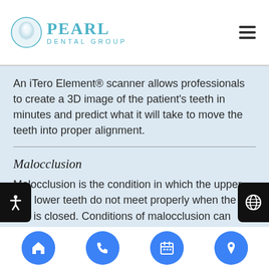Pearl Dental Group
An iTero Element® scanner allows professionals to create a 3D image of the patient's teeth in minutes and predict what it will take to move the teeth into proper alignment.
Malocclusion
Malocclusion is the condition in which the upper and lower teeth do not meet properly when the bite is closed. Conditions of malocclusion can include overbite, underbite, crossbite and open bite; all of which are treatable with